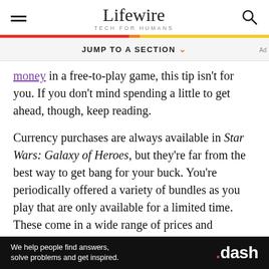Lifewire — TECH FOR HUMANS
JUMP TO A SECTION
money in a free-to-play game, this tip isn't for you. If you don't mind spending a little to get ahead, though, keep reading.
Currency purchases are always available in Star Wars: Galaxy of Heroes, but they're far from the best way to get bang for your buck. You're periodically offered a variety of bundles as you play that are only available for a limited time. These come in a wide range of prices and offerings, and if you see one that suits your
[Figure (screenshot): Advertisement banner for .dash domain with text 'We help people find answers, solve problems and get inspired.']